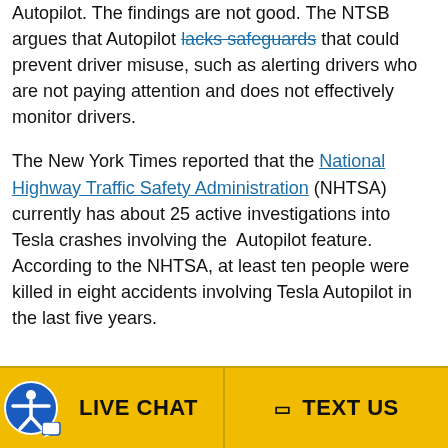Autopilot. The findings are not good. The NTSB argues that Autopilot lacks safeguards that could prevent driver misuse, such as alerting drivers who are not paying attention and does not effectively monitor drivers.
The New York Times reported that the National Highway Traffic Safety Administration (NHTSA) currently has about 25 active investigations into Tesla crashes involving the Autopilot feature. According to the NHTSA, at least ten people were killed in eight accidents involving Tesla Autopilot in the last five years.
[Figure (infographic): Yellow footer bar with two buttons: LIVE CHAT (left, with accessibility icon) and TEXT US (right, with phone icon)]